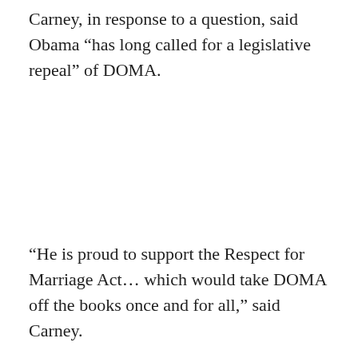Carney, in response to a question, said Obama “has long called for a legislative repeal” of DOMA.
“He is proud to support the Respect for Marriage Act… which would take DOMA off the books once and for all,” said Carney.